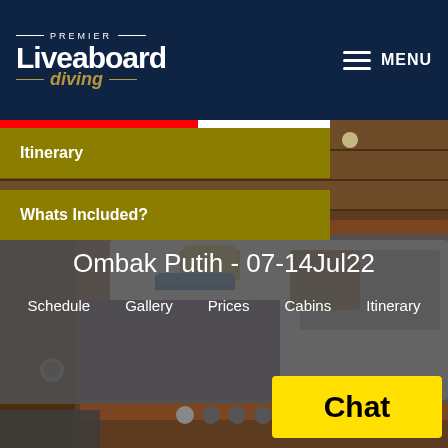Premier Liveaboard diving — MENU
Itinerary
Whats Included?
[Figure (photo): Cabin interior of a liveaboard boat showing a wooden bed with colorful pillows, folded towels, and a blue book on the white sheets.]
Ombak Putih - 07-14Jul22
Schedule  Gallery  Prices  Cabins  Itinerary
Chat